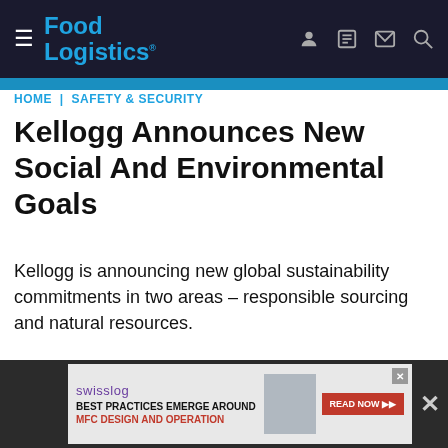Food Logistics
HOME | SAFETY & SECURITY
Kellogg Announces New Social And Environmental Goals
Kellogg is announcing new global sustainability commitments in two areas – responsible sourcing and natural resources.
August 19, 2014
[Figure (illustration): Kellogg's Global Sustainability Commitments promotional image with green background, Kellogg's logo in red cursive script, text reading GLOBAL SUSTAINABILITY COMMITMENTS and RESPONSIBLE SOURCING]
[Figure (illustration): Swisslog advertisement: Best Practices Emerge Around MFC Design and Operation, READ NOW >> button, showing warehouse/logistics imagery]